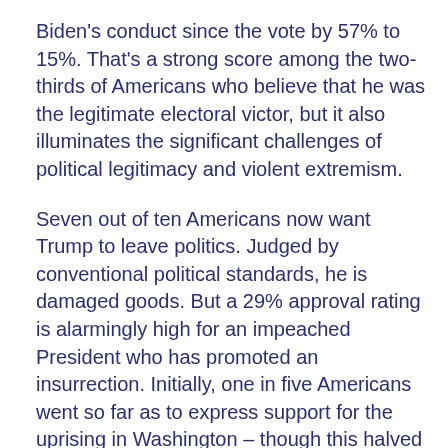Biden's conduct since the vote by 57% to 15%. That's a strong score among the two-thirds of Americans who believe that he was the legitimate electoral victor, but it also illuminates the significant challenges of political legitimacy and violent extremism.
Seven out of ten Americans now want Trump to leave politics. Judged by conventional political standards, he is damaged goods. But a 29% approval rating is alarmingly high for an impeached President who has promoted an insurrection. Initially, one in five Americans went so far as to express support for the uprising in Washington – though this halved within days. Images of the insurrection shifted from those who resembled day-trippers and souvenir hunters to those who came equipped to kidnap and assassinate members of Congress.
The events and aftermath of January 6th show how online conspiracy theories – including QAnon, so absurd that it